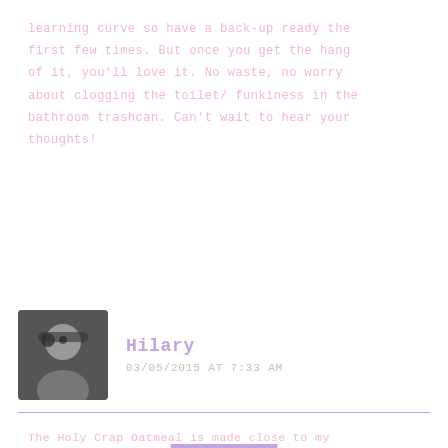learning curve so have a back-up ready the first few times. But once you get the hang of it, you'll love it. No waste, no worry about clogging the toilet/ funkiness in the bathroom trashcan. Can't wait to hear your thoughts!
REPLY
Hilary
03/05/2015 AT 7:33 AM
The Holy Crap Oatmeal is made close to my city! They're doing so well… I'm so happy for them! Everyone loves it!